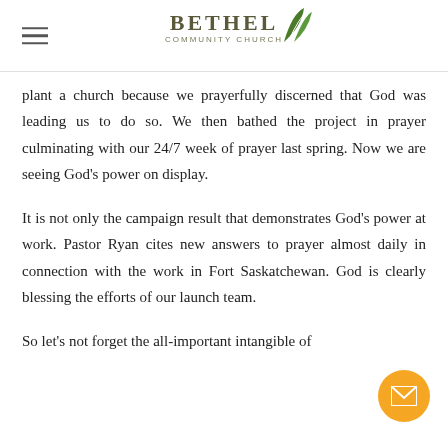Bethel Community Church
plant a church because we prayerfully discerned that God was leading us to do so. We then bathed the project in prayer culminating with our 24/7 week of prayer last spring. Now we are seeing God’s power on display.
It is not only the campaign result that demonstrates God’s power at work. Pastor Ryan cites new answers to prayer almost daily in connection with the work in Fort Saskatchewan. God is clearly blessing the efforts of our launch team.
So let’s not forget the all-important intangible of